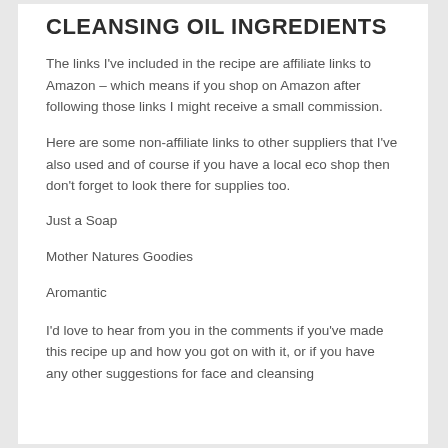CLEANSING OIL INGREDIENTS
The links I've included in the recipe are affiliate links to Amazon – which means if you shop on Amazon after following those links I might receive a small commission.
Here are some non-affiliate links to other suppliers that I've also used and of course if you have a local eco shop then don't forget to look there for supplies too.
Just a Soap
Mother Natures Goodies
Aromantic
I'd love to hear from you in the comments if you've made this recipe up and how you got on with it, or if you have any other suggestions for face and cleansing